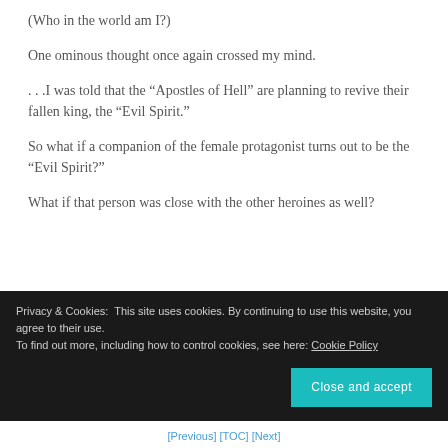(Who in the world am I?)
One ominous thought once again crossed my mind.
…I was told that the “Apostles of Hell” are planning to revive their fallen king, the “Evil Spirit.”
So what if a companion of the female protagonist turns out to be the “Evil Spirit?”
What if that person was close with the other heroines as well?
Privacy & Cookies: This site uses cookies. By continuing to use this website, you agree to their use.
To find out more, including how to control cookies, see here: Cookie Policy
[Previous] [TOC] [Next]